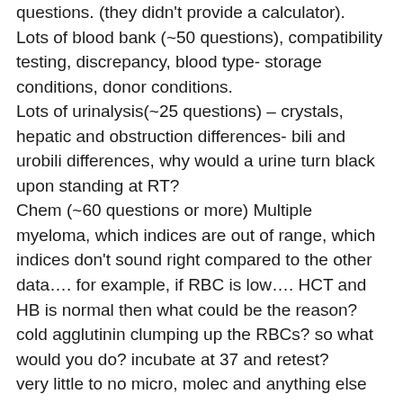questions. (they didn't provide a calculator). Lots of blood bank (~50 questions), compatibility testing, discrepancy, blood type- storage conditions, donor conditions. Lots of urinalysis(~25 questions) – crystals, hepatic and obstruction differences- bili and urobili differences, why would a urine turn black upon standing at RT? Chem (~60 questions or more) Multiple myeloma, which indices are out of range, which indices don't sound right compared to the other data…. for example, if RBC is low…. HCT and HB is normal then what could be the reason? cold agglutinin clumping up the RBCs? so what would you do? incubate at 37 and retest? very little to no micro, molec and anything else really...